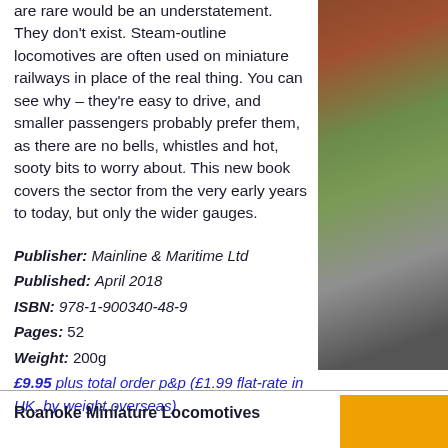are rare would be an understatement. They don't exist. Steam-outline locomotives are often used on miniature railways in place of the real thing. You can see why – they're easy to drive, and smaller passengers probably prefer them, as there are no bells, whistles and hot, sooty bits to worry about. This new book covers the sector from the very early years to today, but only the wider gauges.
Publisher: Mainline & Maritime Ltd
Published: April 2018
ISBN: 978-1-900340-48-9
Pages: 52
Weight: 200g
£9.95 plus total order p&p (£1.99 flat-rate in UK, by weight overseas)
[Figure (photo): Partial photo of a miniature railway scene, showing red/brown and green structures with a pavement, partially cropped on right side of page]
Roanoke Miniature Locomotives